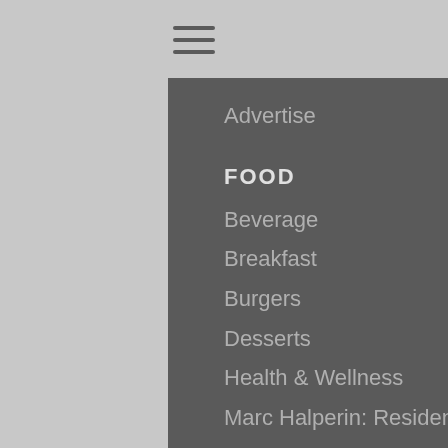[Figure (other): Hamburger menu icon (three horizontal lines)]
Advertise
FOOD
Beverage
Breakfast
Burgers
Desserts
Health & Wellness
Marc Halperin: Resident F&B Expert
Menu Innovations
Pizza
Sandwiches
OPERATIONS
Back of House
Business Advice
Charitable Giving